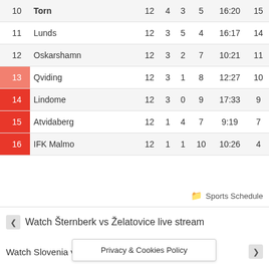| # | Team | P | W | D | L | GD | Pts |
| --- | --- | --- | --- | --- | --- | --- | --- |
| 10 | Torn | 12 | 4 | 3 | 5 | 16:20 | 15 |
| 11 | Lunds | 12 | 3 | 5 | 4 | 16:17 | 14 |
| 12 | Oskarshamn | 12 | 3 | 2 | 7 | 10:21 | 11 |
| 13 | Qviding | 12 | 3 | 1 | 8 | 12:27 | 10 |
| 14 | Lindome | 12 | 3 | 0 | 9 | 17:33 | 9 |
| 15 | Atvidaberg | 12 | 1 | 4 | 7 | 9:19 | 7 |
| 16 | IFK Malmo | 12 | 1 | 1 | 10 | 10:26 | 4 |
Sports Schedule
Watch Šternberk vs Želatovice live stream
Watch Slovenia v... 18/2022
Privacy & Cookies Policy